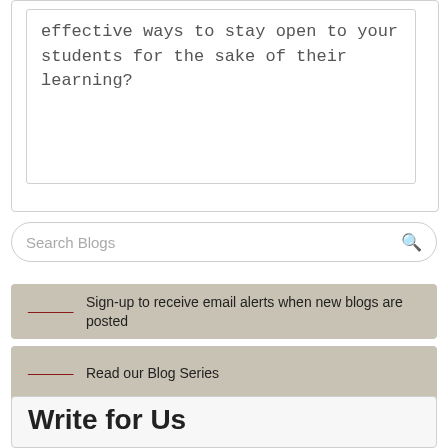effective ways to stay open to your students for the sake of their learning?
Search Blogs
Sign-up to receive email alerts when new blogs are posted
Read our Blog Series
List of Bloggers
Write for Us